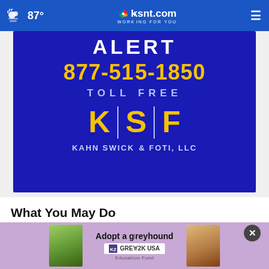87° | ksnt.com WORKING FOR YOU
[Figure (photo): KSF Kahn Swick & Foti LLC advertisement billboard showing phone number 877-515-1850 toll free, with large K | S | F letters in yellow on dark blue background]
What You May Do
If you purchased shares of Natera and would like to discuss your legal rights or interests, please
[Figure (other): Advertisement overlay: Adopt a greyhound - GREY2K USA Education Fund, with photos of animals]